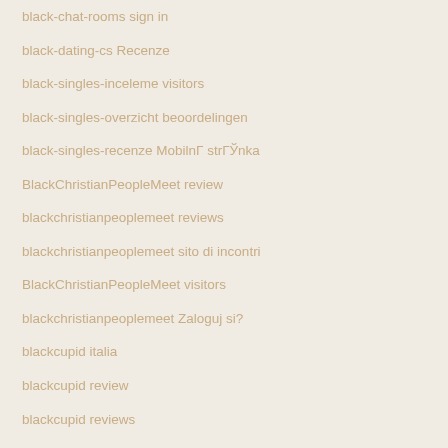black-chat-rooms sign in
black-dating-cs Recenze
black-singles-inceleme visitors
black-singles-overzicht beoordelingen
black-singles-recenze MobilnÍ strÁnka
BlackChristianPeopleMeet review
blackchristianpeoplemeet reviews
blackchristianpeoplemeet sito di incontri
BlackChristianPeopleMeet visitors
blackchristianpeoplemeet Zaloguj si?
blackcupid italia
blackcupid review
blackcupid reviews
blackcupid visitors
blackcupid-inceleme visitors